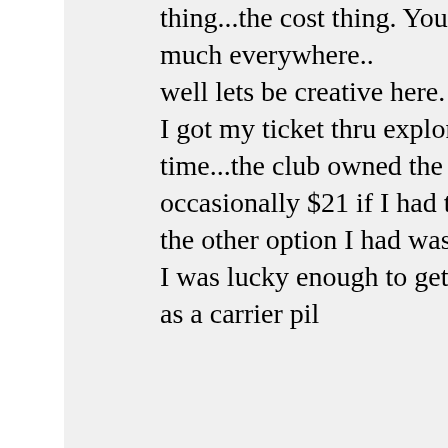thing...the cost thing. You mentioned private pilot costing 10-15K pretty much everywhere.. well lets be creative here. say you are a young kid,,Like me, 40 years ago. I got my ticket thru explorer scouts. $650.. instructors donated the time...the club owned the planes...we paid the "wet rate". $12-16/hr occasionally $21 if I had to go outside the post planes. the other option I had was Civil Air Patrol...just about as inexpensive. I was lucky enough to get the rest of my ratings in the Navy for 10 years as a carrier pil